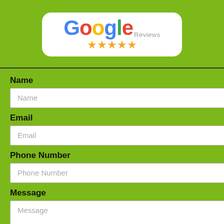[Figure (logo): Google Reviews logo with 5 orange stars on a white rounded rectangle background, on a green background]
Name
Name
Email
Email
Phone Number
Phone Number
Message
Message